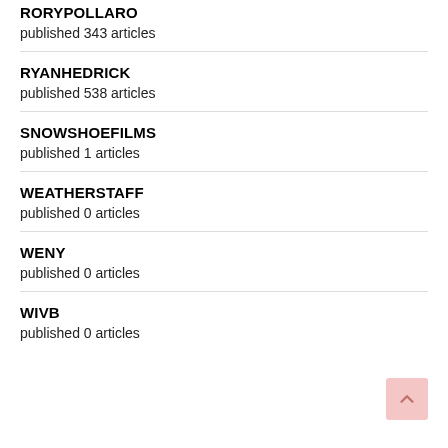RORYPOLLARO
published 343 articles
RYANHEDRICK
published 538 articles
SNOWSHOEFILMS
published 1 articles
WEATHERSTAFF
published 0 articles
WENY
published 0 articles
WIVB
published 0 articles